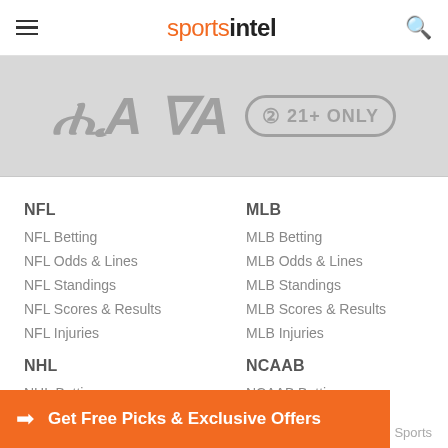sportsintel
[Figure (logo): GA logo and 21+ ONLY badge on grey banner background]
NFL
NFL Betting
NFL Odds & Lines
NFL Standings
NFL Scores & Results
NFL Injuries
MLB
MLB Betting
MLB Odds & Lines
MLB Standings
MLB Scores & Results
MLB Injuries
NHL
NHL Betting
NHL Odds
NHL Standings
NHL Scores
NCAAB
NCAAB Betting
NCAAB Odds
Get Free Picks & Exclusive Offers
Sports